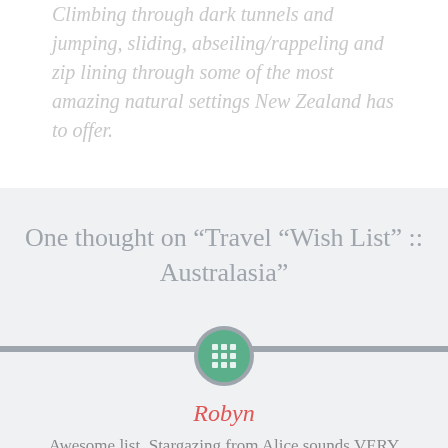Climbing through dark tunnels and jumping, sliding, abseiling/rappeling and zip lining through some of the most amazing natural settings New Zealand has to offer.
One thought on “Travel “Wish List” :: Australasia”
[Figure (illustration): A circular avatar icon with a green background and a white grid/pattern symbol, surrounded by a grey border ring]
Robyn
Awesome list. Stargazing from Alice sounds VERY